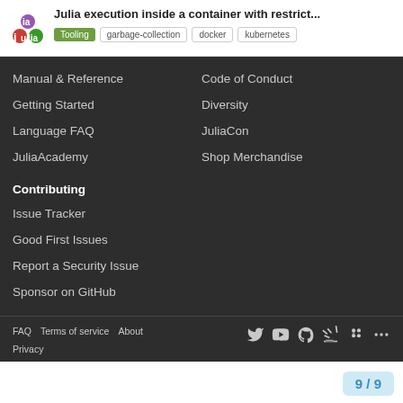Julia execution inside a container with restrict... | Tooling | garbage-collection | docker | kubernetes
Manual & Reference
Code of Conduct
Getting Started
Diversity
Language FAQ
JuliaCon
JuliaAcademy
Shop Merchandise
Contributing
Issue Tracker
Good First Issues
Report a Security Issue
Sponsor on GitHub
FAQ  Terms of service  About  Privacy  9 / 9